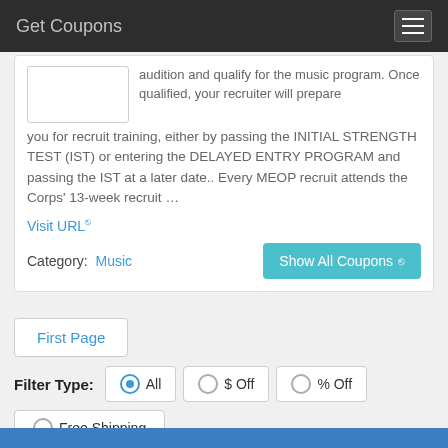Get Coupons
audition and qualify for the music program. Once qualified, your recruiter will prepare you for recruit training, either by passing the INITIAL STRENGTH TEST (IST) or entering the DELAYED ENTRY PROGRAM and passing the IST at a later date.. Every MEOP recruit attends the Corps' 13-week recruit …
Visit URL
Category: Music
Show All Coupons
First Page
Filter Type: All  $ Off  % Off
Free Shipping